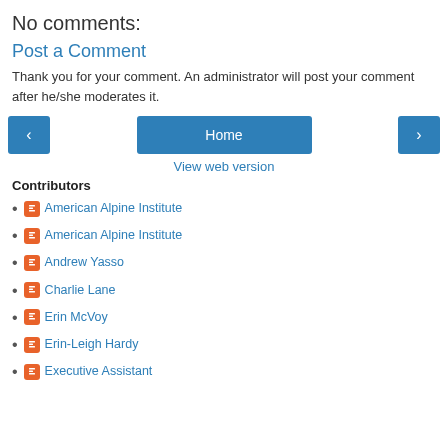No comments:
Post a Comment
Thank you for your comment. An administrator will post your comment after he/she moderates it.
[Figure (other): Navigation buttons: left arrow, Home, right arrow, and View web version link]
Contributors
American Alpine Institute
American Alpine Institute
Andrew Yasso
Charlie Lane
Erin McVoy
Erin-Leigh Hardy
Executive Assistant